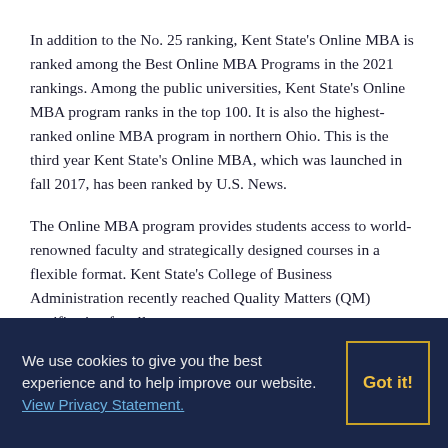In addition to the No. 25 ranking, Kent State's Online MBA is ranked among the Best Online MBA Programs in the 2021 rankings. Among the public universities, Kent State's Online MBA program ranks in the top 100. It is also the highest-ranked online MBA program in northern Ohio. This is the third year Kent State's Online MBA, which was launched in fall 2017, has been ranked by U.S. News.
The Online MBA program provides students access to world-renowned faculty and strategically designed courses in a flexible format. Kent State's College of Business Administration recently reached Quality Matters (QM) certification for all core courses
We use cookies to give you the best experience and to help improve our website. View Privacy Statement. Got it!